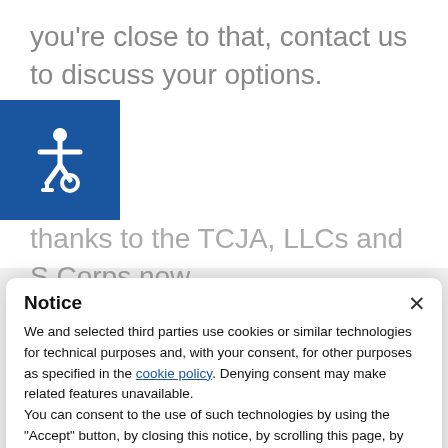you're close to that, contact us to discuss your options.
thanks to the TCJA, LLCs and S Corps now
[Figure (illustration): Blue accessibility icon button showing wheelchair symbol in white on dark blue background]
Notice
We and selected third parties use cookies or similar technologies for technical purposes and, with your consent, for other purposes as specified in the cookie policy. Denying consent may make related features unavailable.
You can consent to the use of such technologies by using the "Accept" button, by closing this notice, by scrolling this page, by interacting with any link or button outside of this notice or by continuing to browse otherwise.
Accept
Learn more and customize